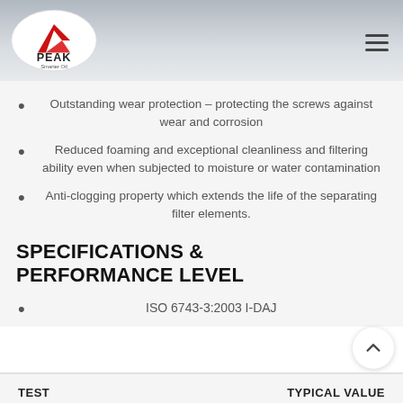PEAK Smarter Oil
Outstanding wear protection – protecting the screws against wear and corrosion
Reduced foaming and exceptional cleanliness and filtering ability even when subjected to moisture or water contamination
Anti-clogging property which extends the life of the separating filter elements.
SPECIFICATIONS & PERFORMANCE LEVEL
ISO 6743-3:2003 I-DAJ
TEST  TYPICAL VALUE